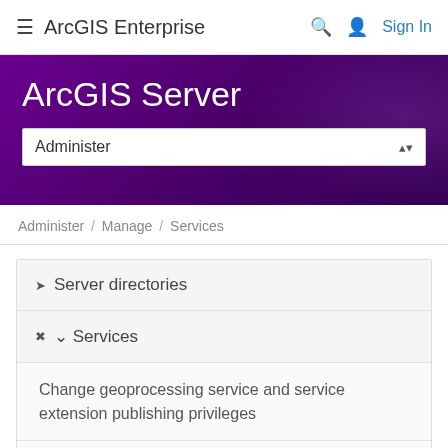≡ ArcGIS Enterprise   🔍 👤 Sign In
ArcGIS Server
Administer
Administer / Manage / Services
> Server directories
∨ Services
Change geoprocessing service and service extension publishing privileges
Configure service instance settings